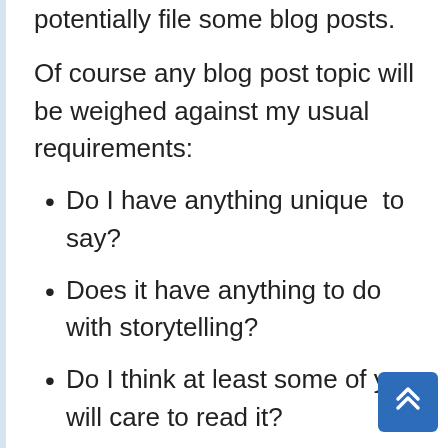potentially file some blog posts.
Of course any blog post topic will be weighed against my usual requirements:
Do I have anything unique  to say?
Does it have anything to do with storytelling?
Do I think at least some of you will care to read it?
Am I interested enough in the topic myself to even want to write about it?